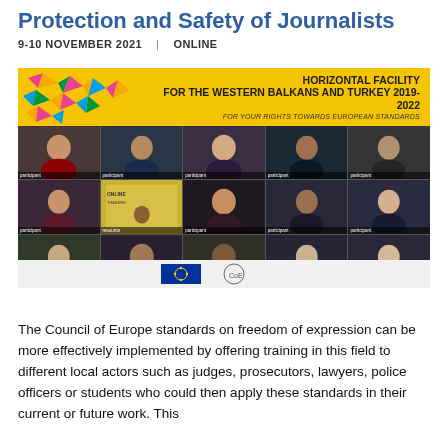Protection and Safety of Journalists
9-10 NOVEMBER 2021  |  ONLINE
[Figure (photo): Online video conference screenshot showing participants in a Horizontal Facility for the Western Balkans and Turkey 2019-2022 event on Protection and Safety of Journalists. A yellow banner at the top reads 'Horizontal Facility for the Western Balkans and Turkey 2019-2022 – For your rights towards European standards'. Fifteen video thumbnail boxes show various participants. Below the grid are EU and Council of Europe logos.]
The Council of Europe standards on freedom of expression can be more effectively implemented by offering training in this field to different local actors such as judges, prosecutors, lawyers, police officers or students who could then apply these standards in their current or future work. This